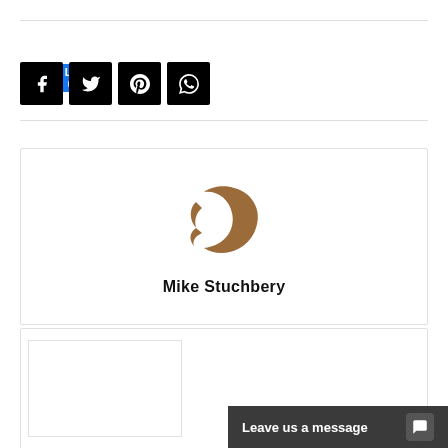[Figure (other): Facebook Like button showing Like 0]
[Figure (other): Social media share icons: Facebook, Twitter, Pinterest, WhatsApp]
[Figure (logo): Decorative crescent/bird logo in brown/bronze color for Mike Stuchbery]
Mike Stuchbery
[Figure (screenshot): Leave us a message chat widget at bottom right]